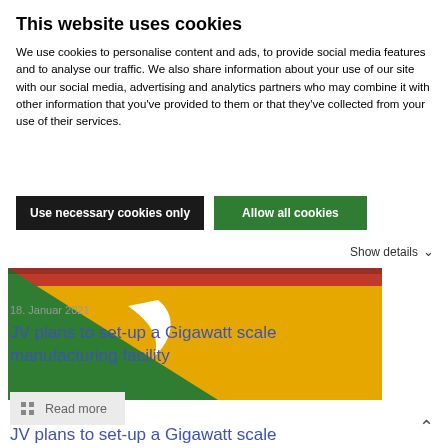This website uses cookies
We use cookies to personalise content and ads, to provide social media features and to analyse our traffic. We also share information about your use of our site with our social media, advertising and analytics partners who may combine it with other information that you've provided to them or that they've collected from your use of their services.
Use necessary cookies only | Allow all cookies
Show details ∨
[Figure (photo): Colorful graphic with green triangle, yellow/gold background, red stripe at top, and white crescent/wing shape — appears to be a company logo or banner image]
18. Januar 2021
JV plans to set-up a Gigawatt scale manufacturing facility
Read more